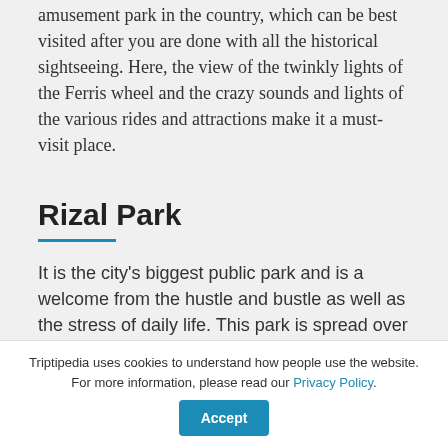amusement park in the country, which can be best visited after you are done with all the historical sightseeing. Here, the view of the twinkly lights of the Ferris wheel and the crazy sounds and lights of the various rides and attractions make it a must-visit place.
Rizal Park
It is the city's biggest public park and is a welcome from the hustle and bustle as well as the stress of daily life. This park is spread over an area of 58 hectares and consists of the tallest flag- pole in the Philippines that is 32 meters tall, commemorating
Triptipedia uses cookies to understand how people use the website. For more information, please read our Privacy Policy.